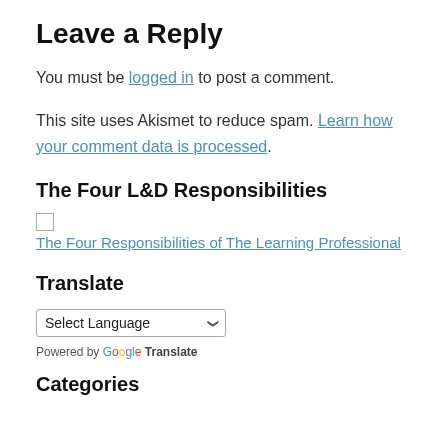Leave a Reply
You must be logged in to post a comment.
This site uses Akismet to reduce spam. Learn how your comment data is processed.
The Four L&D Responsibilities
[Figure (illustration): Broken image placeholder followed by link text: The Four Responsibilities of The Learning Professional]
Translate
Select Language dropdown. Powered by Google Translate.
Categories